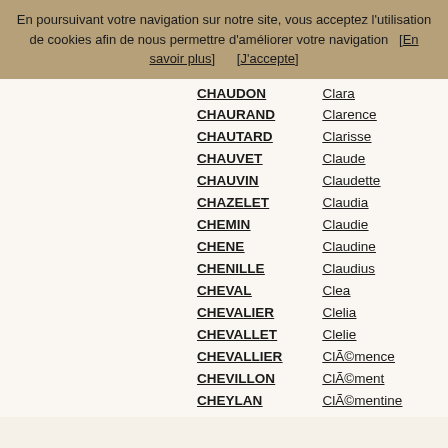En poursuivant votre navigation sur notre site, vous acceptez l'utilisation de cookies afin de nous permettre d'améliorer votre navigation   [En savoir plus]        [J'accepte]
CHAUDON
CHAURAND
CHAUTARD
CHAUVET
CHAUVIN
CHAZELET
CHEMIN
CHENE
CHENILLE
CHEVAL
CHEVALIER
CHEVALLET
CHEVALLIER
CHEVILLON
CHEYLAN
CHIENNO
CHIEZA
CHINAL
CHIORINO
CHIRI
CHRISTIN
Clara
Clarence
Clarisse
Claude
Claudette
Claudia
Claudie
Claudine
Claudius
Clea
Clelia
Clelie
Clémence
Clément
Clémentine
Cleo
Cleophee
Cloe
Clothilde
Clotilde
Clovis